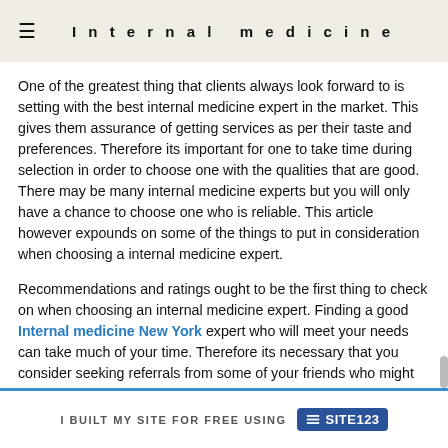Internal medicine
One of the greatest thing that clients always look forward to is setting with the best internal medicine expert in the market. This gives them assurance of getting services as per their taste and preferences. Therefore its important for one to take time during selection in order to choose one with the qualities that are good. There may be many internal medicine experts but you will only have a chance to choose one who is reliable. This article however expounds on some of the things to put in consideration when choosing a internal medicine expert.
Recommendations and ratings ought to be the first thing to check on when choosing an internal medicine expert. Finding a good Internal medicine New York expert who will meet your needs can take much of your time. Therefore its necessary that you consider seeking referrals from some of your friends who might have used the services in the past. With this you are
I BUILT MY SITE FOR FREE USING SITE123